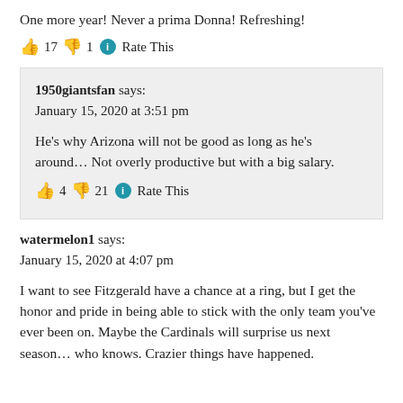One more year! Never a prima Donna! Refreshing!
👍 17 👎 1 ℹ Rate This
1950giantsfan says:
January 15, 2020 at 3:51 pm

He's why Arizona will not be good as long as he's around… Not overly productive but with a big salary.

👍 4 👎 21 ℹ Rate This
watermelon1 says:
January 15, 2020 at 4:07 pm

I want to see Fitzgerald have a chance at a ring, but I get the honor and pride in being able to stick with the only team you've ever been on. Maybe the Cardinals will surprise us next season… who knows. Crazier things have happened.